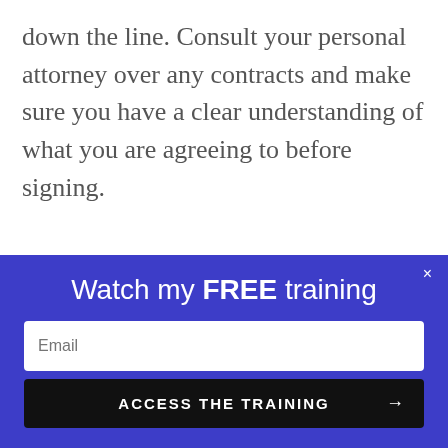down the line. Consult your personal attorney over any contracts and make sure you have a clear understanding of what you are agreeing to before signing.
freight
We use cookies on our website to give you the most relevant experience by remembering your preferences and
Watch my FREE training
Email
ACCESS THE TRAINING →